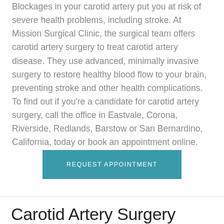Blockages in your carotid artery put you at risk of severe health problems, including stroke. At Mission Surgical Clinic, the surgical team offers carotid artery surgery to treat carotid artery disease. They use advanced, minimally invasive surgery to restore healthy blood flow to your brain, preventing stroke and other health complications. To find out if you're a candidate for carotid artery surgery, call the office in Eastvale, Corona, Riverside, Redlands, Barstow or San Bernardino, California, today or book an appointment online.
REQUEST APPOINTMENT
Carotid Artery Surgery Q&A